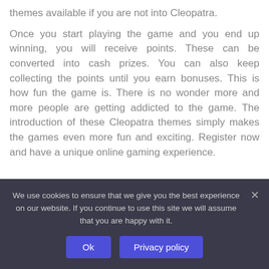themes available if you are not into Cleopatra.
Once you start playing the game and you end up winning, you will receive points. These can be converted into cash prizes. You can also keep collecting the points until you earn bonuses. This is how fun the game is. There is no wonder more and more people are getting addicted to the game. The introduction of these Cleopatra themes simply makes the games even more fun and exciting. Register now and have a unique online gaming experience.
We use cookies to ensure that we give you the best experience on our website. If you continue to use this site we will assume that you are happy with it.
Ok
Privacy policy